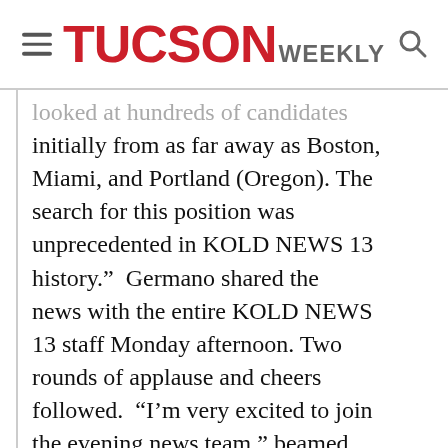TUCSON WEEKLY
looked at hundreds of candidates initially from as far away as Boston, Miami, and Portland (Oregon). The search for this position was unprecedented in KOLD NEWS 13 history.”  Germano shared the news with the entire KOLD NEWS 13 staff Monday afternoon. Two rounds of applause and cheers followed.  “I’m very excited to join the evening news team,” beamed